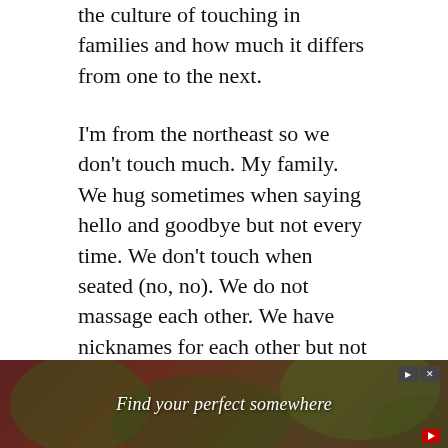the culture of touching in families and how much it differs from one to the next.
I'm from the northeast so we don't touch much. My family. We hug sometimes when saying hello and goodbye but not every time. We don't touch when seated (no, no). We do not massage each other. We have nicknames for each other but not “pet” names. If I need my sister to pass something across the table, I’d ask by her name not “honey” although if she was sick and I was bringing her some tea, I might baby talk her with a “poor puddin’” My fiancee’s family, also from this area, are even less affectionate than that.
When I lived in Belgium, a TRIPLE cheek kiss was the standard. That’s THREE kisses people! But I kind of liked… [text continues] …hen we f…
[Figure (other): Advertisement banner reading 'Find your perfect somewhere' with dark red/brown and green background image, play and close control buttons top-right, and a red play icon bottom-right.]